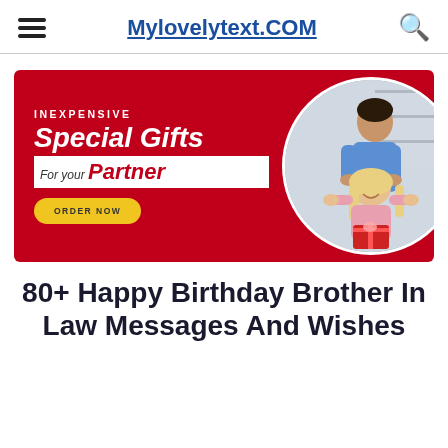Mylovelytext.COM
[Figure (illustration): Red advertisement banner for inexpensive special gifts for your partner. Left side shows text: INEXPENSIVE, Special Gifts, For your Partner, with an ORDER NOW yellow button. Right side shows a circular photo of a man covering a smiling woman's eyes while she holds a red gift box in a kitchen setting.]
80+ Happy Birthday Brother In Law Messages And Wishes